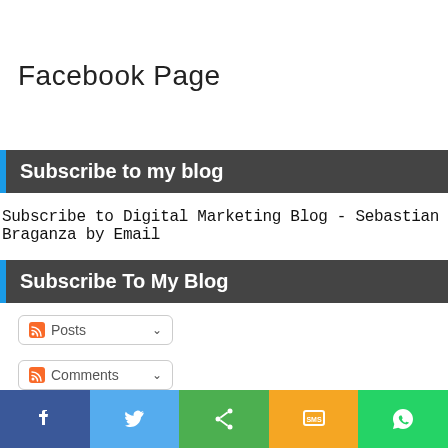Facebook Page
Subscribe to my blog
Subscribe to Digital Marketing Blog - Sebastian Braganza by Email
Subscribe To My Blog
Posts
Comments
[Figure (infographic): Social sharing bar with Facebook, Twitter, Share, SMS, and WhatsApp buttons]